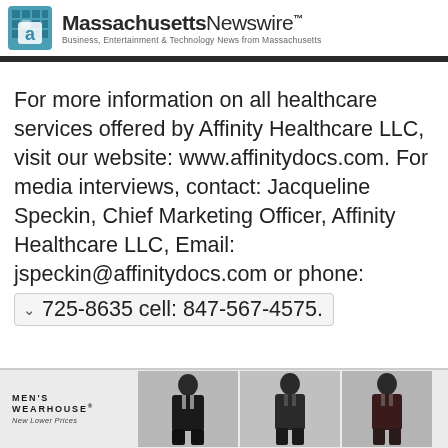MassachusettsNewswire™ — Business, Entertainment & Technology News from Massachusetts
For more information on all healthcare services offered by Affinity Healthcare LLC, visit our website: www.affinitydocs.com. For media interviews, contact: Jacqueline Speckin, Chief Marketing Officer, Affinity Healthcare LLC, Email: jspeckin@affinitydocs.com or phone: 725-8635 cell: 847-567-4575.
[Figure (other): Men's Wearhouse advertisement banner with suited male figures and text 'MEN'S WEARHOUSE® New Lower Prices']